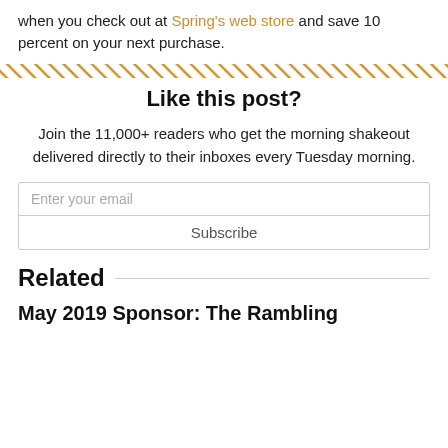when you check out at Spring's web store and save 10 percent on your next purchase.
[Figure (other): Diagonal hatch divider line pattern in gold/tan color]
Like this post?
Join the 11,000+ readers who get the morning shakeout delivered directly to their inboxes every Tuesday morning.
Enter your email
Subscribe
Related
May 2019 Sponsor: The Rambling